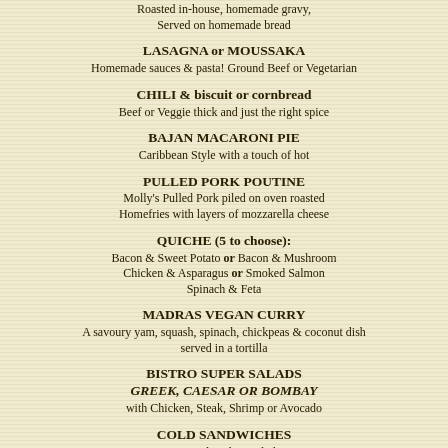Roasted in-house, homemade gravy,
Served on homemade bread
LASAGNA or MOUSSAKA
Homemade sauces & pasta! Ground Beef or Vegetarian
CHILI & biscuit or cornbread
Beef or Veggie thick and just the right spice
BAJAN MACARONI PIE
Caribbean Style with a touch of hot
PULLED PORK POUTINE
Molly's Pulled Pork piled on oven roasted
Homefries with layers of mozzarella cheese
QUICHE (5 to choose):
Bacon & Sweet Potato or Bacon & Mushroom
Chicken & Asparagus or Smoked Salmon
Spinach & Feta
MADRAS VEGAN CURRY
A savoury yam, squash, spinach, chickpeas & coconut dish
served in a tortilla
BISTRO SUPER SALADS
GREEK, CAESAR OR BOMBAY
with Chicken, Steak, Shrimp or Avocado
COLD SANDWICHES
Curried Turkey Salad
Chicken & Walnut Salad
Tuna Salad